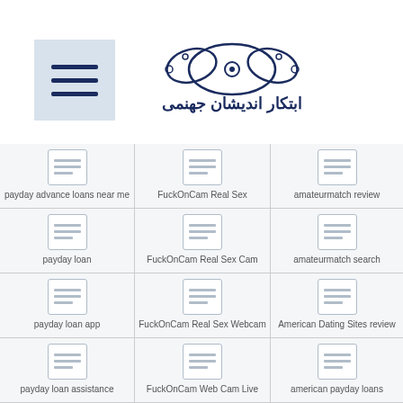[Figure (screenshot): Website page header with hamburger menu icon on left and Persian logo/text on right]
| Column 1 | Column 2 | Column 3 |
| --- | --- | --- |
| payday advance loans near me | FuckOnCam Real Sex | amateurmatch review |
| payday loan | FuckOnCam Real Sex Cam | amateurmatch search |
| payday loan app | FuckOnCam Real Sex Webcam | American Dating Sites review |
| payday loan assistance | FuckOnCam Web Cam Live | american payday loans |
| (partial) | (partial) | (partial) |